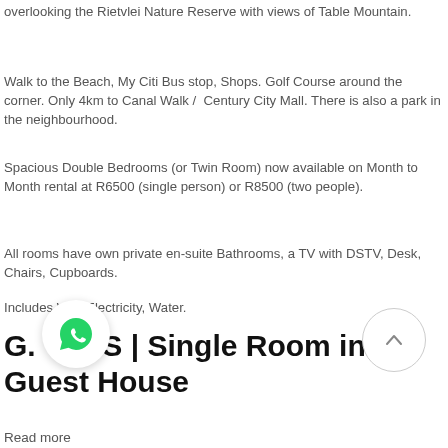overlooking the Rietvlei Nature Reserve with views of Table Mountain.
Walk to the Beach, My Citi Bus stop, Shops. Golf Course around the corner. Only 4km to Canal Walk / Century City Mall. There is also a park in the neighbourhood.
Spacious Double Bedrooms (or Twin Room) now available on Month to Month rental at R6500 (single person) or R8500 (two people).
All rooms have own private en-suite Bathrooms, a TV with DSTV, Desk, Chairs, Cupboards.
Includes Wifi, Electricity, Water.
G. ENS | Single Room in Guest House
Read more